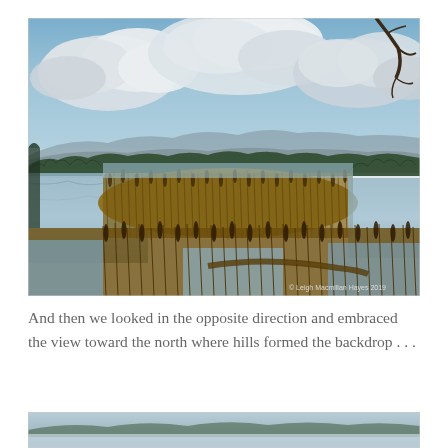[Figure (photo): Landscape photograph of a wetland/marsh scene with cattails and reeds in the foreground reflected in still water, distant hills and treeline in the middle ground, and a dramatic cloudy blue sky. A bare tree branch extends from the upper right. Watermark reads '© Leigh Macmillan Hayes 2019' in the lower right corner.]
And then we looked in the opposite direction and embraced the view toward the north where hills formed the backdrop . . .
[Figure (photo): Partial view of a second landscape photograph showing a snow or ice-covered scene, only the top portion is visible at the bottom of the page.]